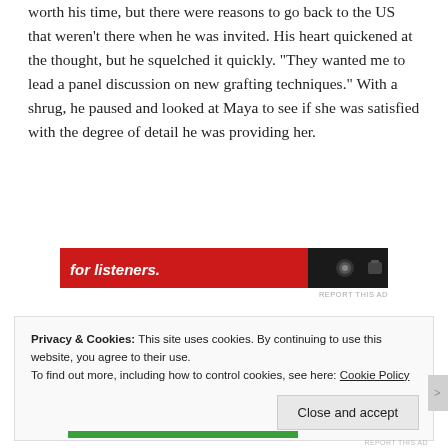worth his time, but there were reasons to go back to the US that weren't there when he was invited. His heart quickened at the thought, but he squelched it quickly. “They wanted me to lead a panel discussion on new grafting techniques.” With a shrug, he paused and looked at Maya to see if she was satisfied with the degree of detail he was providing her.
[Figure (other): Red advertisement banner with white italic bold text reading 'for listeners.' and a dark device image on the right side]
REPORT THIS AD
Privacy & Cookies: This site uses cookies. By continuing to use this website, you agree to their use.
To find out more, including how to control cookies, see here: Cookie Policy
Close and accept